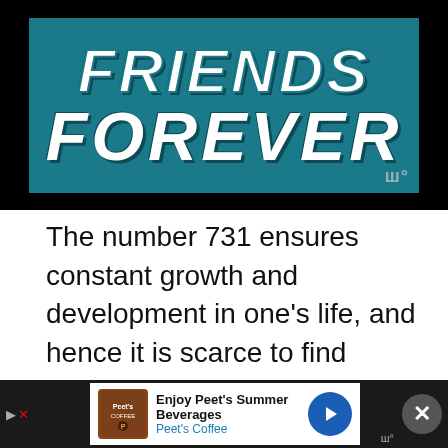[Figure (illustration): Banner image with dark background and teal panel showing large bold italic white text reading 'FRIENDS FOREVER' with a watermark icon in the bottom right]
The number 731 ensures constant growth and development in one's life, and hence it is scarce to find people with this angel number. The number 1 in the combination 731 plays the role of both the first two numbers. One more important characteristic that the number one owns is the capability of creating realities.
People with the number 1 have excellent thought power. They can manifest anything to co...wn.
[Figure (screenshot): Advertisement bar at the bottom showing Peet's Coffee ad with logo, text 'Enjoy Peet's Summer Beverages' and 'Peet's Coffee', a blue arrow icon, and a close button]